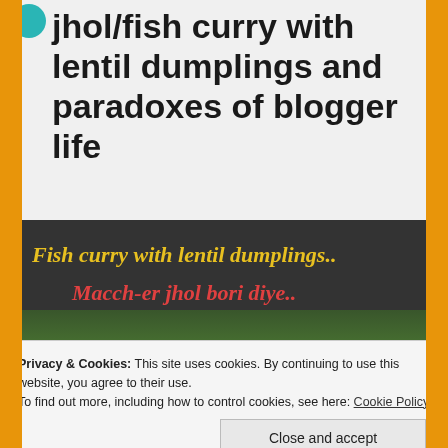jhol/fish curry with lentil dumplings and paradoxes of blogger life
[Figure (photo): Food blog header image with text overlay reading 'Fish curry with lentil dumplings.. Macch-er jhol bori diye..' in cursive yellow and red fonts over a dark background with green vegetables]
Privacy & Cookies: This site uses cookies. By continuing to use this website, you agree to their use.
To find out more, including how to control cookies, see here: Cookie Policy
Close and accept